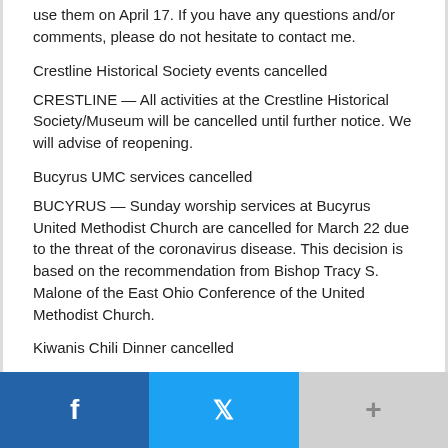use them on April 17. If you have any questions and/or comments, please do not hesitate to contact me.
Crestline Historical Society events cancelled
CRESTLINE — All activities at the Crestline Historical Society/Museum will be cancelled until further notice. We will advise of reopening.
Bucyrus UMC services cancelled
BUCYRUS — Sunday worship services at Bucyrus United Methodist Church are cancelled for March 22 due to the threat of the coronavirus disease. This decision is based on the recommendation from Bishop Tracy S. Malone of the East Ohio Conference of the United Methodist Church.
Kiwanis Chili Dinner cancelled